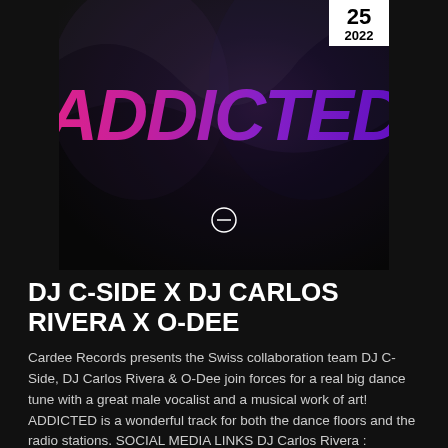[Figure (illustration): Dark moody album artwork for 'ADDICTED' featuring large pink-to-purple gradient italic text 'ADDICTED' on a dark black background with subtle reflective sheen and a small circular logo icon at the bottom center. A white date badge in the top-right corner shows '25' and '2022'.]
DJ C-SIDE X DJ CARLOS RIVERA X O-DEE
Cardee Records presents the Swiss collaboration team DJ C-Side, DJ Carlos Rivera & O-Dee join forces for a real big dance tune with a great male vocalist and a musical work of art! ADDICTED is a wonderful track for both the dance floors and the radio stations. SOCIAL MEDIA LINKS DJ Carlos Rivera : https://artistpage.lnk.to/djcarlosrivera